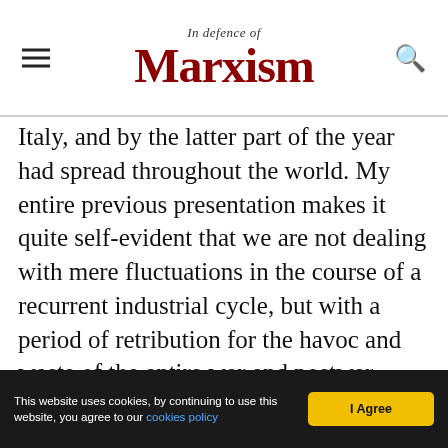In Defence of Marxism
Italy, and by the latter part of the year had spread throughout the world. My entire previous presentation makes it quite self-evident that we are not dealing with mere fluctuations in the course of a recurrent industrial cycle, but with a period of retribution for the havoc and waste of the entire war and postwar epoch.
This website uses cookies, by continuing to use this website, you agree to our cookies policy | I Agree